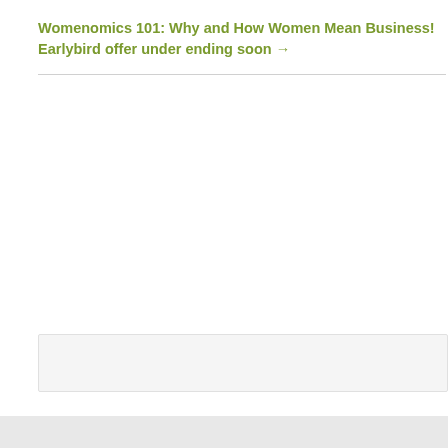Womenomics 101: Why and How Women Mean Business! Earlybird offer under ending soon →